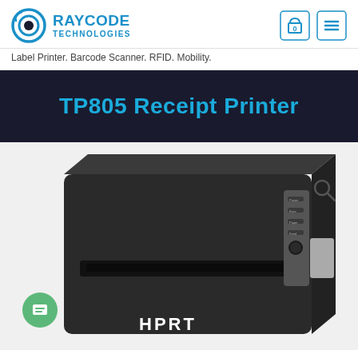[Figure (logo): Raycode Technologies logo with circular eye icon and blue text]
Label Printer. Barcode Scanner. RFID. Mobility.
TP805 Receipt Printer
[Figure (photo): HPRT TP805 receipt printer, black, top-front angle view showing paper slot and control buttons on the right side]